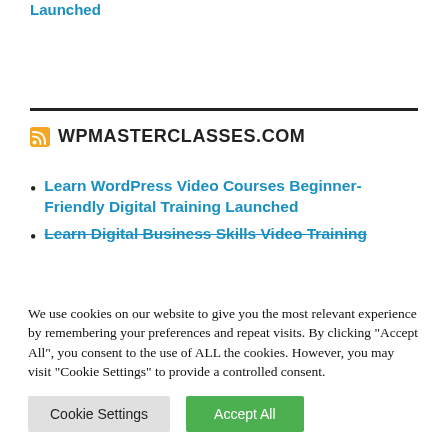Learn WordPress Video Courses Beginner-Friendly Digital Training Launched
WPMASTERCLASSES.COM
Learn WordPress Video Courses Beginner-Friendly Digital Training Launched
Learn Digital Business Skills Video Training
We use cookies on our website to give you the most relevant experience by remembering your preferences and repeat visits. By clicking "Accept All", you consent to the use of ALL the cookies. However, you may visit "Cookie Settings" to provide a controlled consent.